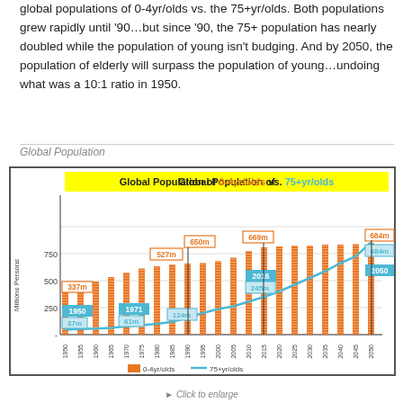global populations of 0-4yr/olds vs. the 75+yr/olds. Both populations grew rapidly until '90...but since '90, the 75+ population has nearly doubled while the population of young isn't budging. And by 2050, the population of elderly will surpass the population of young...undoing what was a 10:1 ratio in 1950.
Global Population
[Figure (line-chart): Global Population of 0-4yr/olds vs. 75+yr/olds]
Click to enlarge